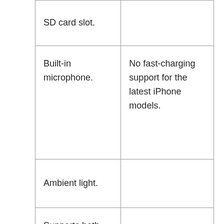| SD card slot. |  |
| Built-in microphone. | No fast-charging support for the latest iPhone models. |
| Ambient light. |  |
| Supports both Wireless charging and non-Qi phones. |  |